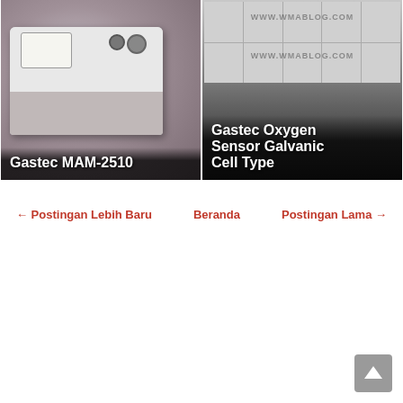[Figure (photo): Gastec MAM-2510 portable gas meter device with analog gauge, photographed on grey/purple background. White text overlay reads 'Gastec MAM-2510'.]
[Figure (photo): Gastec Oxygen Sensor Galvanic Cell Type product image showing a grid of various sensor models on grey/dark gradient background with 'WWW.WMABLOG.COM' watermark. White text overlay reads 'Gastec Oxygen Sensor Galvanic Cell Type'.]
← Postingan Lebih Baru
Beranda
Postingan Lama →